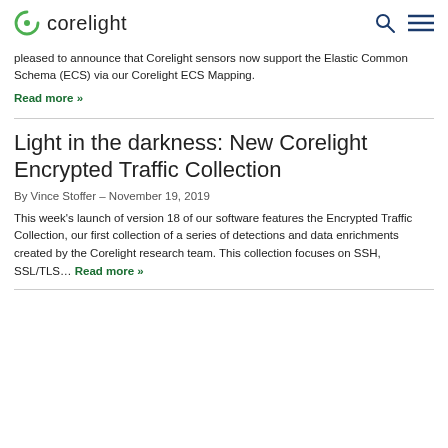corelight
pleased to announce that Corelight sensors now support the Elastic Common Schema (ECS) via our Corelight ECS Mapping.
Read more »
Light in the darkness: New Corelight Encrypted Traffic Collection
By Vince Stoffer – November 19, 2019
This week's launch of version 18 of our software features the Encrypted Traffic Collection, our first collection of a series of detections and data enrichments created by the Corelight research team. This collection focuses on SSH, SSL/TLS… Read more »